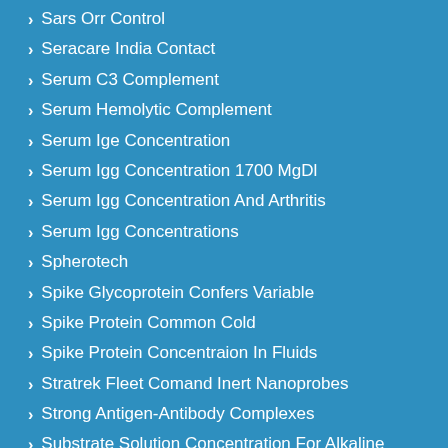Sars Orr Control
Seracare India Contact
Serum C3 Complement
Serum Hemolytic Complement
Serum Ige Concentration
Serum Igg Concentration 1700 MgDl
Serum Igg Concentration And Arthritis
Serum Igg Concentrations
Spherotech
Spike Glycoprotein Confers Variable
Spike Protein Common Cold
Spike Protein Concentraion In Fluids
Stratrek Fleet Comand Inert Nanoprobes
Strong Antigen-Antibody Complexes
Substrate Solution Concentration For Alkaline Phosphatase Elisa